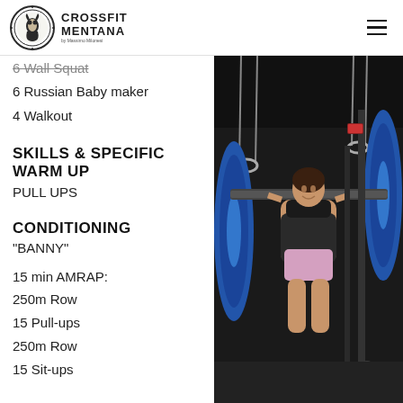CrossFit Mentana
6 Wall Squat
6 Russian Baby maker
4 Walkout
SKILLS & SPECIFIC WARM UP
PULL UPS
CONDITIONING
"BANNY"
15 min AMRAP:
250m Row
15 Pull-ups
250m Row
15 Sit-ups
[Figure (photo): Woman athlete performing an overhead lift with a barbell loaded with blue plates in a CrossFit gym, gymnastic rings visible in background]